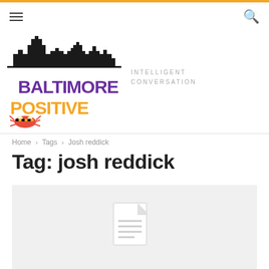[Figure (logo): Baltimore Positive logo with city skyline silhouette and Maryland crab mascot. Text says BALTIMORE POSITIVE in purple and orange.]
INTELLIGENT CONVERSATION
Home › Tags › Josh reddick
Tag: josh reddick
[Figure (illustration): Light gray placeholder box with a document/file icon in the center]